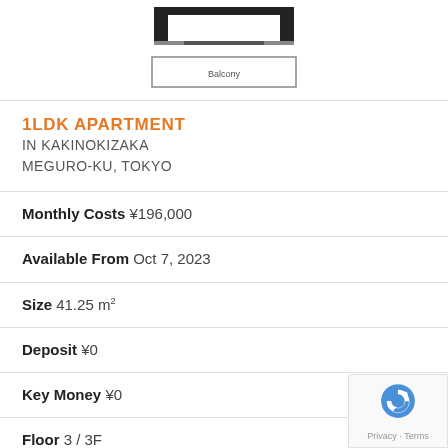[Figure (engineering-diagram): Floor plan diagram showing apartment layout with a balcony at the bottom, partial view of room boundaries and structural columns.]
1LDK APARTMENT IN KAKINOKIZAKA MEGURO-KU, TOKYO
Monthly Costs ¥196,000
Available From Oct 7, 2023
Size 41.25 m²
Deposit ¥0
Key Money ¥0
Floor 3 / 3F
Year Built 2021